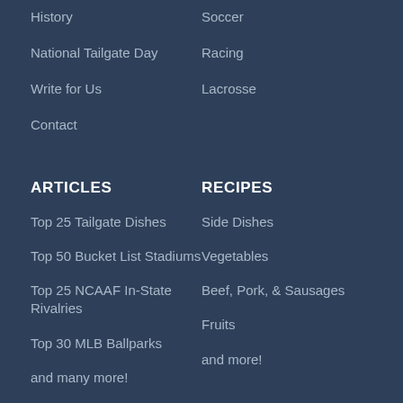History
Soccer
National Tailgate Day
Racing
Write for Us
Lacrosse
Contact
ARTICLES
RECIPES
Top 25 Tailgate Dishes
Side Dishes
Top 50 Bucket List Stadiums
Vegetables
Top 25 NCAAF In-State Rivalries
Beef, Pork, & Sausages
Top 30 MLB Ballparks
Fruits
and many more!
and more!